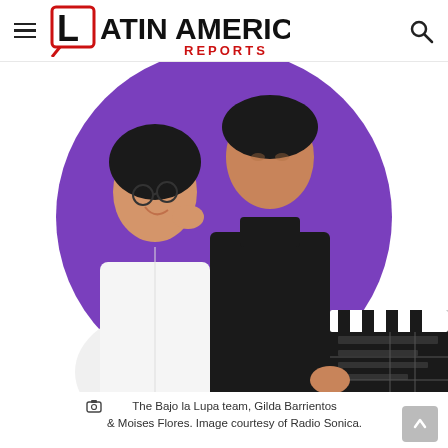Latin America Reports
[Figure (photo): Two people standing back-to-back against a purple circular background. On the left is a woman wearing glasses and a white jacket, smiling with her hand raised near her face. On the right is a man wearing a black turtleneck holding a film clapperboard. The Bajo la Lupa team, Gilda Barrientos & Moises Flores.]
The Bajo la Lupa team, Gilda Barrientos & Moises Flores. Image courtesy of Radio Sonica.